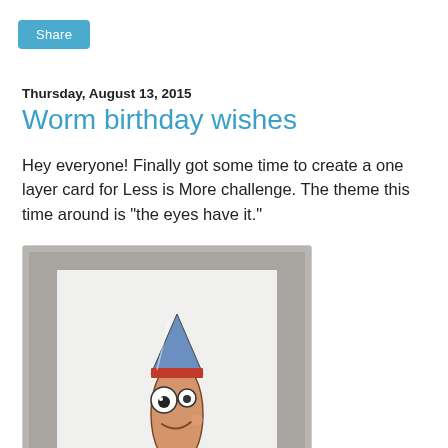Share
Thursday, August 13, 2015
Worm birthday wishes
Hey everyone! Finally got some time to create a one layer card for Less is More challenge. The theme this time around is "the eyes have it."
[Figure (photo): A birthday card featuring a cartoon worm character wearing a party hat, with large round eyes and a smile, drawn on white card stock placed against a gray background.]